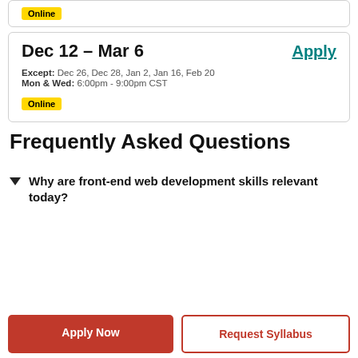Online
Dec 12 – Mar 6
Apply
Except: Dec 26, Dec 28, Jan 2, Jan 16, Feb 20
Mon & Wed: 6:00pm - 9:00pm CST
Online
Frequently Asked Questions
Why are front-end web development skills relevant today?
Apply Now
Request Syllabus